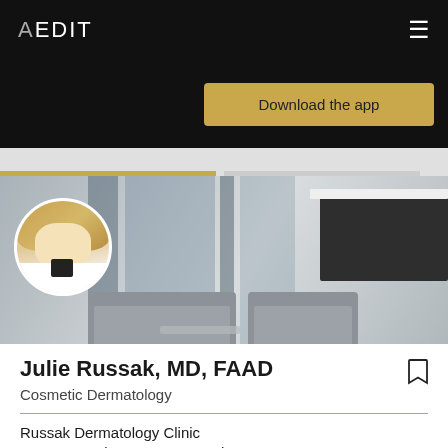AEDIT
Download the app
[Figure (photo): Clinic interior photo showing modern waiting area with gray sofas, large windows, and dark reception counter, with circular inset photo of Dr. Julie Russak in white coat]
Julie Russak, MD, FAAD
Cosmetic Dermatology
Russak Dermatology Clinic
115 East 57th Street, New York, NY 10022
Medical Doctor